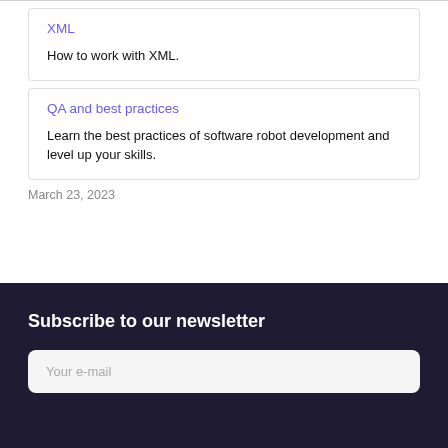XML
How to work with XML.
QA and best practices
Learn the best practices of software robot development and level up your skills.
March 23, 2023
Subscribe to our newsletter
Your e-mail